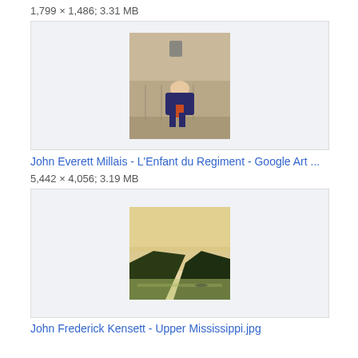1,799 × 1,486; 3.31 MB
[Figure (photo): Thumbnail of John Everett Millais - L'Enfant du Regiment painting showing a figure resting on a stone ledge]
John Everett Millais - L'Enfant du Regiment - Google Art ...
5,442 × 4,056; 3.19 MB
[Figure (photo): Thumbnail of John Frederick Kensett - Upper Mississippi landscape painting showing river and hills at dusk]
John Frederick Kensett - Upper Mississippi.jpg